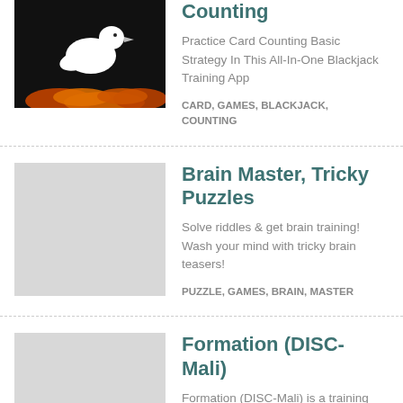[Figure (photo): App icon showing a white bird on dark background with fire/flames at bottom - Card Counting app]
Counting
Practice Card Counting Basic Strategy In This All-In-One Blackjack Training App
CARD, GAMES, BLACKJACK, COUNTING
[Figure (photo): App icon placeholder (light gray square) for Brain Master, Tricky Puzzles]
Brain Master, Tricky Puzzles
Solve riddles & get brain training! Wash your mind with tricky brain teasers!
PUZZLE, GAMES, BRAIN, MASTER
[Figure (photo): App icon placeholder (light gray square) for Formation (DISC-Mali)]
Formation (DISC-Mali)
Formation (DISC-Mali) is a training app for community health workers in Mali
EDUCATION, FORMATION, DISCMALI, MALI